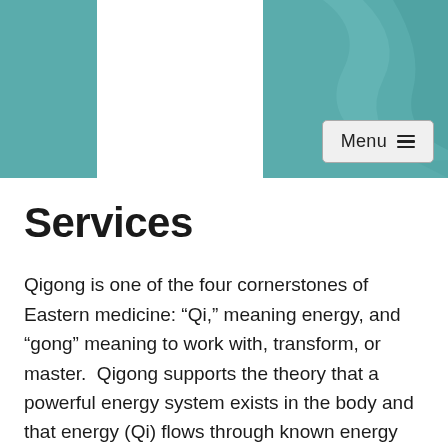[Figure (other): Website header with teal/cyan colored blocks on left and right sides, white center space, and a hamburger Menu button in the upper right area]
Services
Qigong is one of the four cornerstones of Eastern medicine: “Qi,” meaning energy, and “gong” meaning to work with, transform, or master.  Qigong supports the theory that a powerful energy system exists in the body and that energy (Qi) flows through known energy pathways.  The pathways are referred to as channels or meridians.  The Qi system is